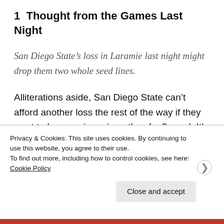1  Thought from the Games Last Night
San Diego State’s loss in Laramie last night might drop them two whole seed lines.
Alliterations aside, San Diego State can’t afford another loss the rest of the way if they want to have a résumé worthy of a 2-seed. It’s not the worst loss in the world, as Wyoming is at least
Privacy & Cookies: This site uses cookies. By continuing to use this website, you agree to their use.
To find out more, including how to control cookies, see here: Cookie Policy
Close and accept